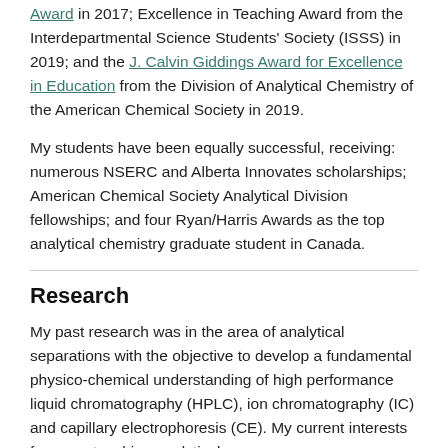Award in 2017; Excellence in Teaching Award from the Interdepartmental Science Students' Society (ISSS) in 2019; and the J. Calvin Giddings Award for Excellence in Education from the Division of Analytical Chemistry of the American Chemical Society in 2019.
My students have been equally successful, receiving: numerous NSERC and Alberta Innovates scholarships; American Chemical Society Analytical Division fellowships; and four Ryan/Harris Awards as the top analytical chemistry graduate student in Canada.
Research
My past research was in the area of analytical separations with the objective to develop a fundamental physico-chemical understanding of high performance liquid chromatography (HPLC), ion chromatography (IC) and capillary electrophoresis (CE). My current interests focus on teaching analytical